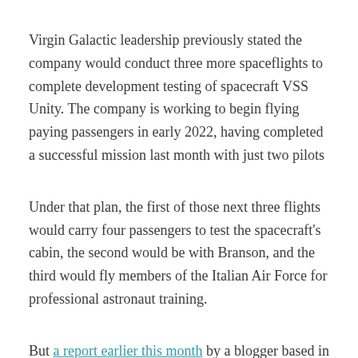Virgin Galactic leadership previously stated the company would conduct three more spaceflights to complete development testing of spacecraft VSS Unity. The company is working to begin flying paying passengers in early 2022, having completed a successful mission last month with just two pilots
Under that plan, the first of those next three flights would carry four passengers to test the spacecraft's cabin, the second would be with Branson, and the third would fly members of the Italian Air Force for professional astronaut training.
But a report earlier this month by a blogger based in Mojave, California – where Virgin Galactic manufactures its vehicles – said the company is considering reorganizing its